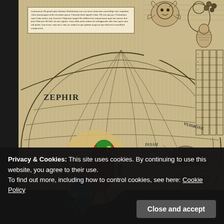[Figure (illustration): Antique world map detail with decorative Renaissance cartouche, cherubs/figures in top right corner, circular globe projection showing latitude/longitude lines, 'ZEPHIR' wind label on left side, 'PANAM' and 'VUISBONE' geographic labels, a red and blue macaw parrot perched on the globe arc, and 'Hayti' in large red italic serif lettering. Scale bar visible at bottom.]
Privacy & Cookies: This site uses cookies. By continuing to use this website, you agree to their use.
To find out more, including how to control cookies, see here: Cookie Policy
Close and accept